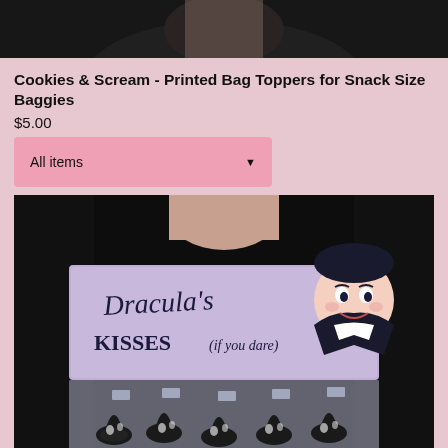[Figure (photo): Partial top image showing dark background, cropped product photo]
Cookies & Scream - Printed Bag Toppers for Snack Size Baggies
$5.00
All items
[Figure (photo): Person holding a Dracula's Kisses (if you dare) printed bag topper above a bag of Halloween Hershey's Kisses chocolates. The topper is lavender/purple with script text and a cartoon Dracula illustration.]